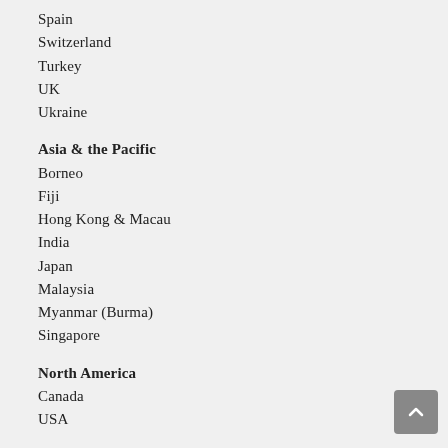Spain
Switzerland
Turkey
UK
Ukraine
Asia & the Pacific
Borneo
Fiji
Hong Kong & Macau
India
Japan
Malaysia
Myanmar (Burma)
Singapore
North America
Canada
USA
Australia
Adelaide to Alice Springs
Between Sydney and Melbourne